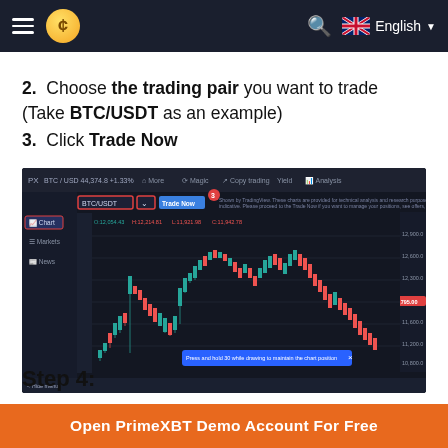PrimeXBT navigation bar with hamburger menu, coin logo, search icon, and English language selector
2. Choose the trading pair you want to trade (Take BTC/USDT as an example)
3. Click Trade Now
[Figure (screenshot): PrimeXBT trading platform screenshot showing a BTC/USDT candlestick chart with dark theme, red-highlighted BTC/USDT pair selector, a Trade Now button, and a tooltip at the bottom. The chart shows price action with green and red candles, price levels around $10,000-$13,000 range.]
Step 4:
Open PrimeXBT Demo Account For Free